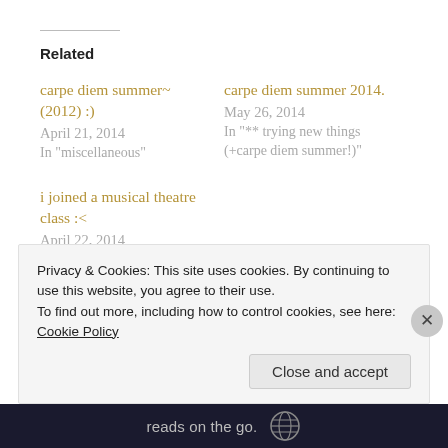Related
carpe diem summer~ (2012) :)
April 21, 2014
In "miscellaneous"
carpe diem summer 2014.
May 26, 2014
In "** trying new things (+carpe diem summer!)"
i joined a musical theatre class :<
April 22, 2014
In "** trying new things (+carpe diem summer!)"
Privacy & Cookies: This site uses cookies. By continuing to use this website, you agree to their use.
To find out more, including how to control cookies, see here: Cookie Policy
reads on the go.